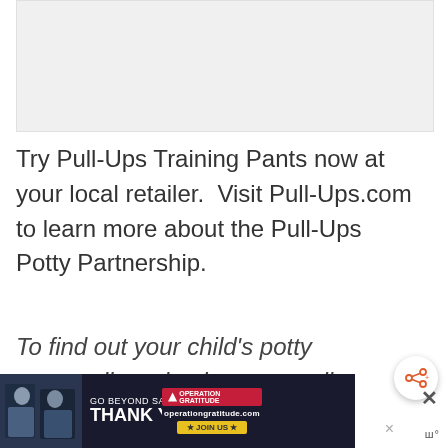[Figure (other): Gray advertisement placeholder box]
Try Pull-Ups Training Pants now at your local retailer.  Visit Pull-Ups.com to learn more about the Pull-Ups Potty Partnership.
To find out your child's potty personality, take the personality
[Figure (other): Bottom banner advertisement: GO BEYOND SAYING THANK YOU - Operation Gratitude JOIN US, with photo of people]
[Figure (other): Share button icon (circular button with share symbol)]